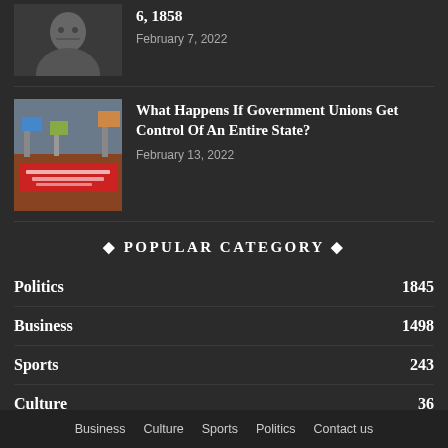6, 1858
February 7, 2022
[Figure (photo): Black and white photo of a person]
What Happens If Government Unions Get Control Of An Entire State?
February 13, 2022
[Figure (photo): Protest photo with red 'Fund Our Schools' banner]
◆ POPULAR CATEGORY ◆
Politics   1845
Business   1498
Sports   243
Culture   36
Business   Culture   Sports   Politics   Contact us